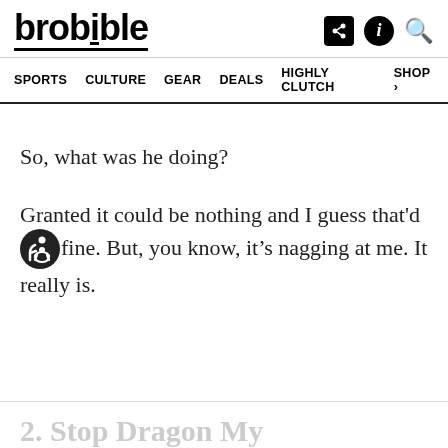brobible
SPORTS  CULTURE  GEAR  DEALS  HIGHLY CLUTCH  SHOP >
So, what was he doing?
Granted it could be nothing and I guess that'd fine. But, you know, it's nagging at me. It really is.
2. Stop Dragon My